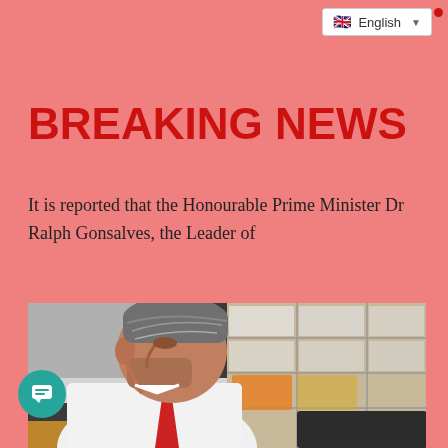English
BREAKING NEWS
It is reported that the Honourable Prime Minister Dr Ralph Gonsalves, the Leader of
[Figure (photo): Photo of a middle-aged man with grey hair and stubble, wearing a white shirt and red tie, looking downward, in what appears to be an indoor setting with shelves and boxes visible in the background.]